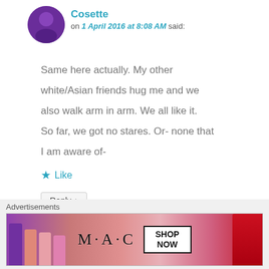Cosette
on 1 April 2016 at 8:08 AM said:
Same here actually. My other white/Asian friends hug me and we also walk arm in arm. We all like it. So far, we got no stares. Or- none that I am aware of-
Like
Reply ↓
Mabel Kwong
on 1 April 2016 at 8:25 PM
Advertisements
[Figure (photo): MAC Cosmetics advertisement showing lipsticks in purple, pink, coral colors with MAC logo and SHOP NOW button]